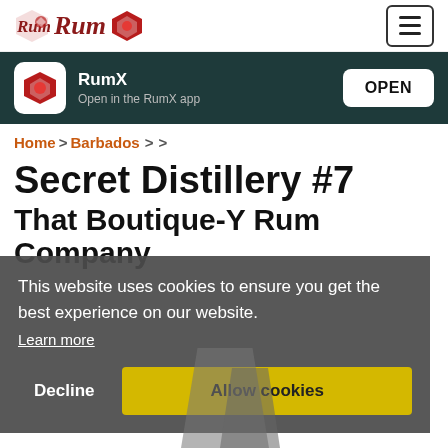Rum [logo] [hamburger menu]
RumX
Open in the RumX app
OPEN
Home > Barbados > >
Secret Distillery #7
That Boutique-Y Rum Company
This website uses cookies to ensure you get the best experience on our website.
Learn more
Decline
Allow cookies